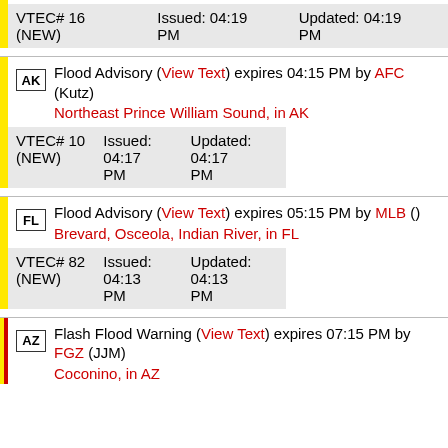| VTEC# 16 (NEW) | Issued: 04:19 PM | Updated: 04:19 PM |
| AK | Flood Advisory (View Text) expires 04:15 PM by AFC (Kutz)
Northeast Prince William Sound, in AK
VTEC# 10 (NEW) | Issued: 04:17 PM | Updated: 04:17 PM |
| FL | Flood Advisory (View Text) expires 05:15 PM by MLB ()
Brevard, Osceola, Indian River, in FL
VTEC# 82 (NEW) | Issued: 04:13 PM | Updated: 04:13 PM |
| AZ | Flash Flood Warning (View Text) expires 07:15 PM by FGZ (JJM)
Coconio, in AZ |